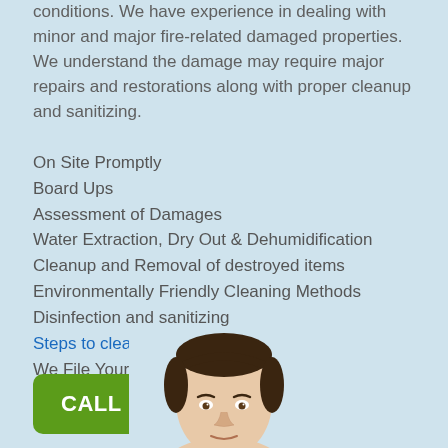conditions. We have experience in dealing with minor and major fire-related damaged properties. We understand the damage may require major repairs and restorations along with proper cleanup and sanitizing.
On Site Promptly
Board Ups
Assessment of Damages
Water Extraction, Dry Out & Dehumidification
Cleanup and Removal of destroyed items
Environmentally Friendly Cleaning Methods
Disinfection and sanitizing
Steps to cleanup fire-losses
We File Your Claim
[Figure (other): Green button with text CALL US NOW and a phone icon]
[Figure (photo): Partial photo of a man's head and shoulders, cropped at bottom of page]